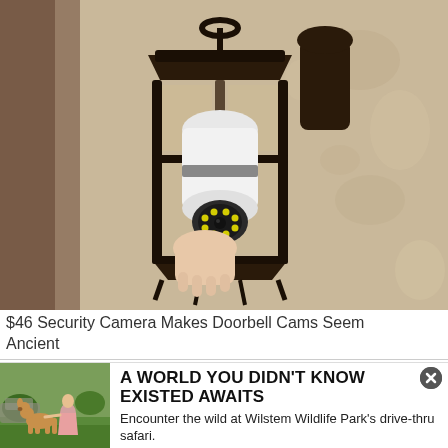[Figure (photo): A hand installing a white security camera shaped like a light bulb into a dark iron outdoor lantern wall fixture mounted on a tan stucco wall.]
$46 Security Camera Makes Doorbell Cams Seem Ancient
[Figure (photo): A child interacting with a deer or small animal in a grassy outdoor setting at a wildlife park.]
A WORLD YOU DIDN'T KNOW EXISTED AWAITS
Encounter the wild at Wilstem Wildlife Park's drive-thru safari.